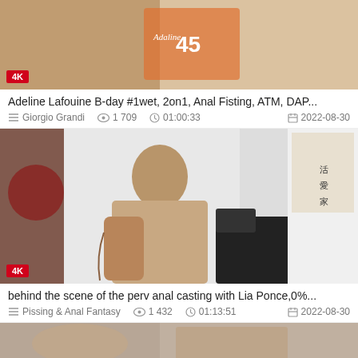[Figure (screenshot): Video thumbnail showing 4K badge, partial adult content scene with birthday card]
Adeline Lafouine B-day #1wet, 2on1, Anal Fisting, ATM, DAP...
Giorgio Grandi  1 709  01:00:33  2022-08-30
[Figure (screenshot): Video thumbnail showing 4K badge, tattooed man in decorated room with couch]
behind the scene of the perv anal casting with Lia Ponce,0%...
Pissing & Anal Fantasy  1 432  01:13:51  2022-08-30
[Figure (screenshot): Partial video thumbnail at bottom of page]